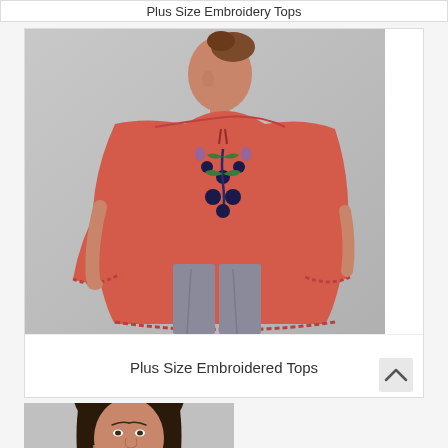Plus Size Embroidery Tops
[Figure (photo): Woman wearing a red off-shoulder embroidered top with wide sleeves and crochet hem trim, paired with grey jeans. Studio product photo on white/grey background.]
Plus Size Embroidered Tops
[Figure (photo): Partial photo of a woman with dark hair, cropped at neck/shoulder level, bottom of page.]